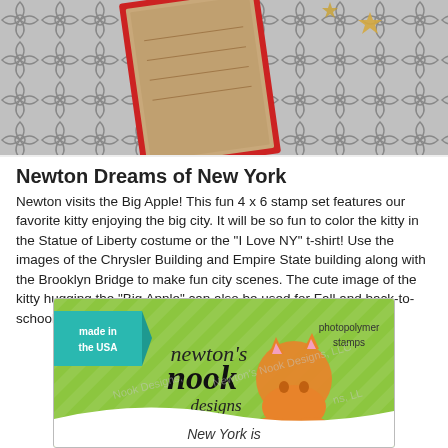[Figure (photo): Top portion of a craft/scrapbooking photo showing a gray Moroccan tile patterned background with a red-bordered kraft paper element and wooden star embellishments.]
Newton Dreams of New York
Newton visits the Big Apple! This fun 4 x 6 stamp set features our favorite kitty enjoying the big city. It will be so fun to color the kitty in the Statue of Liberty costume or the "I Love NY" t-shirt! Use the images of the Chrysler Building and Empire State building along with the Brooklyn Bridge to make fun city scenes. The cute image of the kitty hugging the "Big Apple" can also be used for Fall and back-to-school greetings!
[Figure (photo): Newton's Nook Designs product package showing a lime green background with a cartoon orange cat, 'made in the USA' teal ribbon, 'photopolymer stamps' text, and 'New York is...' text at the bottom with watermark overlay.]